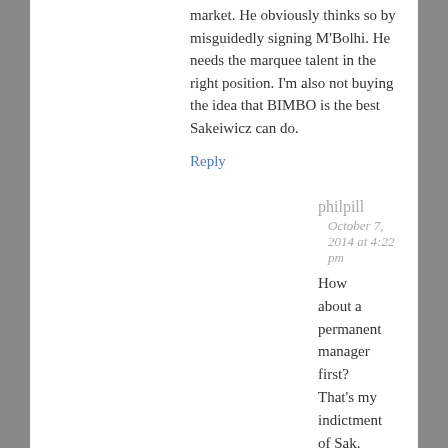market. He obviously thinks so by misguidedly signing M'Bolhi. He needs the marquee talent in the right position. I'm also not buying the idea that BIMBO is the best Sakeiwicz can do.
Reply
philpill
October 7, 2014 at 4:22 pm
How about a permanent manager first? That's my indictment of Sak. Just list his quotes from June through September. Utterly incoherent. Still hasn't addressed the leaked “interim” tag removal. CEO 101: “Have a message & follow it or don't expect anyone else to.” I think Bimbo is as good as HE could do.
LSBli...